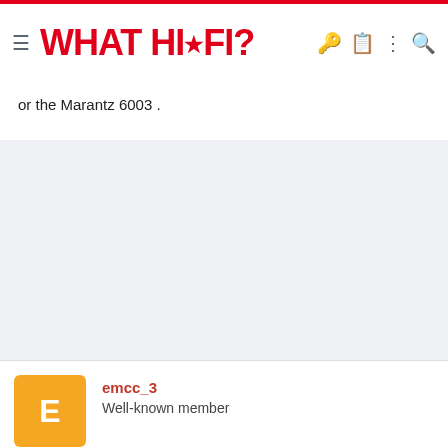WHAT HI-FI?
or the Marantz 6003 .
[Figure (other): Advertisement / empty gray area placeholder]
emcc_3
Well-known member